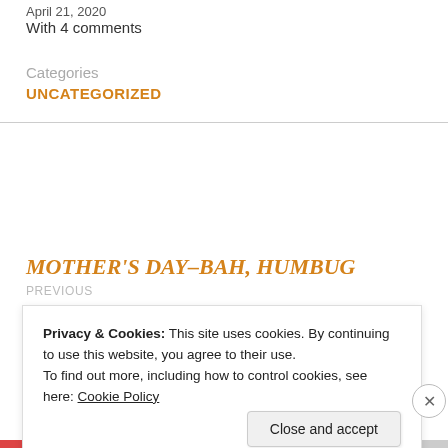April 21, 2020
With 4 comments
Categories
UNCATEGORIZED
MOTHER'S DAY–BAH, HUMBUG
PREVIOUS
Privacy & Cookies: This site uses cookies. By continuing to use this website, you agree to their use.
To find out more, including how to control cookies, see here: Cookie Policy
Close and accept